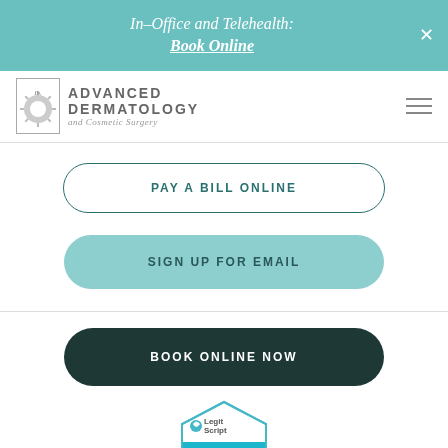In-Office and Telehealth: Book Online
[Figure (logo): Advanced Dermatology and Cosmetic Surgery logo with sunburst icon]
PAY A BILL ONLINE
SIGN UP FOR EMAIL
BOOK ONLINE NOW
[Figure (logo): LegitScript badge — ADVANCEDDERM.COM]